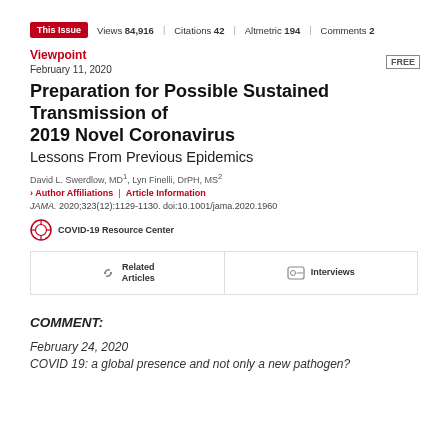This Issue  Views 84,916  Citations 42  Altmetric 194  Comments 2
Viewpoint
February 11, 2020
Preparation for Possible Sustained Transmission of 2019 Novel Coronavirus
Lessons From Previous Epidemics
David L. Swerdlow, MD1, Lyn Finelli, DrPH, MS2
Author Affiliations  |  Article Information
JAMA. 2020;323(12):1129-1130. doi:10.1001/jama.2020.1960
COVID-19 Resource Center
Related Articles  |  Interviews
COMMENT:
February 24, 2020
COVID 19: a global presence and not only a new pathogen?